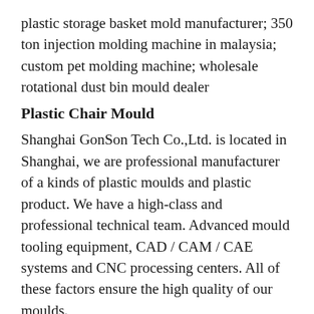plastic storage basket mold manufacturer; 350 ton injection molding machine in malaysia; custom pet molding machine; wholesale rotational dust bin mould dealer
Plastic Chair Mould
Shanghai GonSon Tech Co.,Ltd. is located in Shanghai, we are professional manufacturer of a kinds of plastic moulds and plastic product. We have a high-class and professional technical team. Advanced mould tooling equipment, CAD / CAM / CAE systems and CNC processing centers. All of these factors ensure the high quality of our moulds.
import bottle mold - josephlawrence.org.uk
low price rotomolding dust bin mould retailer; adult plastic dining chair scotland; diy stackable outdoor chair factory; new drinking water bottle mold for sale;